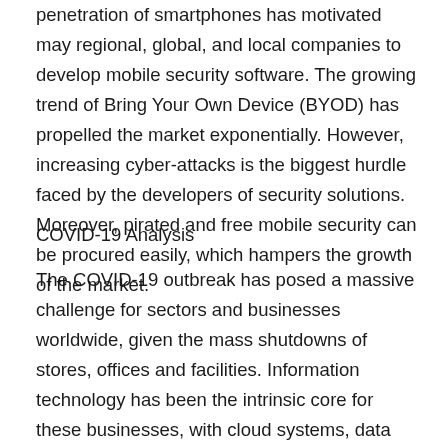penetration of smartphones has motivated may regional, global, and local companies to develop mobile security software. The growing trend of Bring Your Own Device (BYOD) has propelled the market exponentially. However, increasing cyber-attacks is the biggest hurdle faced by the developers of security solutions. Moreover, pirated and free mobile security can be procured easily, which hampers the growth of the market.
COVID-19 Analysis
The COVID-19 outbreak has posed a massive challenge for sectors and businesses worldwide, given the mass shutdowns of stores, offices and facilities. Information technology has been the intrinsic core for these businesses, with cloud systems, data centers, digital devices and departmental servers largely dependent on it. Post SARS-CoV-2, employees working from home are now even more dependent on IT technologies to remain connected and also